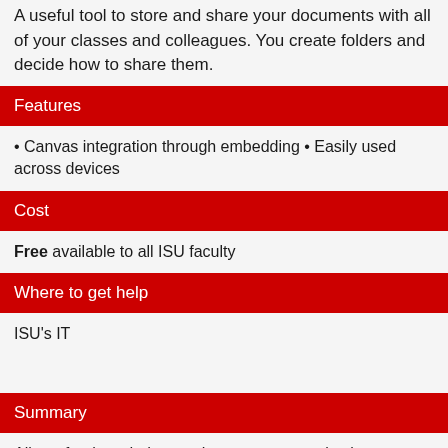A useful tool to store and share your documents with all of your classes and colleagues. You create folders and decide how to share them.
Features
• Canvas integration through embedding • Easily used across devices
Cost
Free available to all ISU faculty
Where to get help
ISU's IT
Summary
Allows for threaded, asynchronous communication